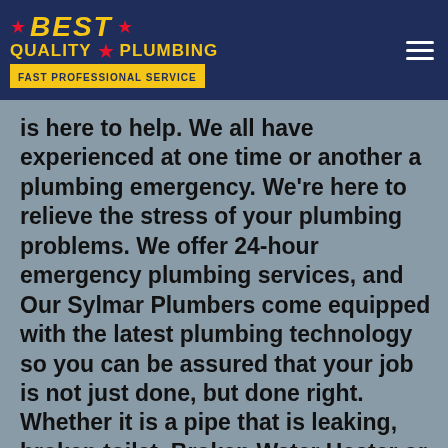[Figure (logo): Best Quality Plumbing logo with yellow text, red stars, and blue background with tagline 'FAST PROFESSIONAL SERVICE']
is here to help. We all have experienced at one time or another a plumbing emergency. We're here to relieve the stress of your plumbing problems. We offer 24-hour emergency plumbing services, and Our Sylmar Plumbers come equipped with the latest plumbing technology so you can be assured that your job is not just done, but done right. Whether it is a pipe that is leaking, broken toilet, Broken Water Heater or clogged drain; no